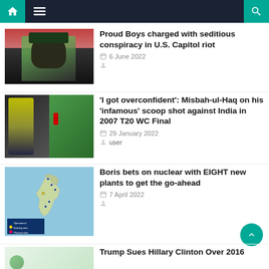Navigation bar with home, menu, and search icons
[Figure (photo): Man in military/sports cap and sunglasses with pink/red flag in background]
Proud Boys charged with seditious conspiracy in U.S. Capitol riot
6 June 2022
[Figure (photo): Cricket player batting with composite image of cricket match]
'I got overconfident': Misbah-ul-Haq on his 'infamous' scoop shot against India in 2007 T20 WC Final
29 January 2022
user
[Figure (map): Map of Britain showing nuclear plant locations with legend, labeled BRITAIN'S NUCLEAR FUTURE]
Boris bets on nuclear with EIGHT new plants to get the go-ahead
7 April 2022
Trump Sues Hillary Clinton Over 2016